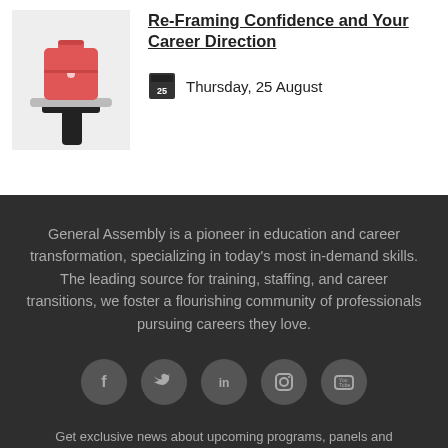[Figure (photo): Person holding a red toolbox/briefcase on a tray, waiter-style, against a grey background]
Re-Framing Confidence and Your Career Direction
Thursday, 25 August
General Assembly is a pioneer in education and career transformation, specializing in today's most in-demand skills. The leading source for training, staffing, and career transitions, we foster a flourishing community of professionals pursuing careers they love.
[Figure (infographic): Social media icons: Facebook, Twitter, LinkedIn, Instagram, YouTube — white icons on dark grey circles]
Get exclusive news about upcoming programs, panels and community events.